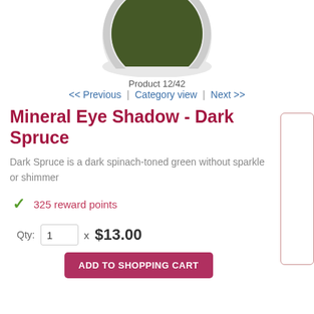[Figure (photo): Top-down view of an open cosmetic jar containing dark green mineral eye shadow powder, with a white lid visible at bottom]
Product 12/42
<< Previous | Category view | Next >>
Mineral Eye Shadow - Dark Spruce
Dark Spruce is a dark spinach-toned green without sparkle or shimmer
325 reward points
Qty: 1 x $13.00
ADD TO SHOPPING CART